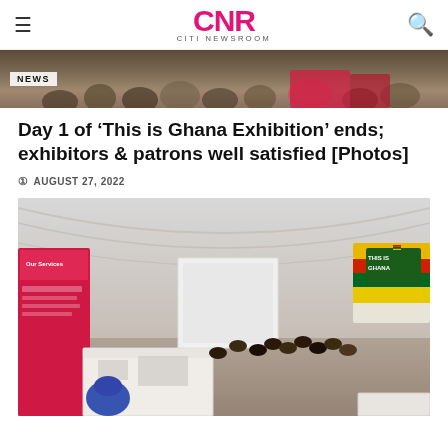CNR CITI NEWSROOM
[Figure (photo): Top cropped photo showing a crowd of people at the Ghana Exhibition event, with a NEWS badge overlay in the top-left corner.]
Day 1 of ‘This is Ghana Exhibition’ ends; exhibitors & patrons well satisfied [Photos]
AUGUST 27, 2022
[Figure (photo): Interior photo of a large white tent at the 'This is Ghana Exhibition'. People are seated in chairs watching a presentation. Exhibition booths are visible, including a pink/red booth on the left with 'Our Services' text. A colorful inflatable arch with 'THIS IS GHANA' sign is visible in the background right.]